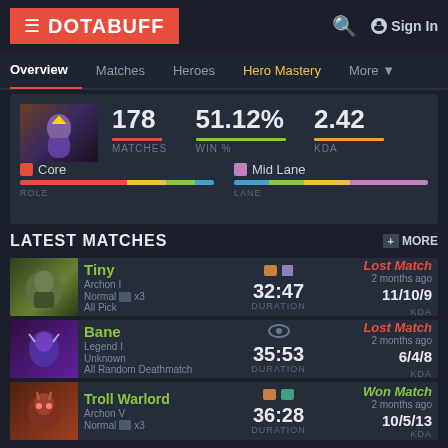DOTABUFF
Overview  Matches  Heroes  Hero Mastery  More
| MATCHES | WIN % | KDA |
| --- | --- | --- |
| 178 | 51.12% | 2.42 |
Core  Role | Mid Lane  Lane
LATEST MATCHES
Tiny | Archon I | Normal x3 | All Pick | Lost Match | 2 months ago | 32:47 DURATION | 11/10/9 KDA
Bane | Legend I | Unknown | All Random Deathmatch | Lost Match | 2 months ago | 35:53 DURATION | 6/4/8 KDA
Troll Warlord | Archon V | Normal x3 | All Pick | Won Match | 2 months ago | 36:28 DURATION | 10/5/13 KDA